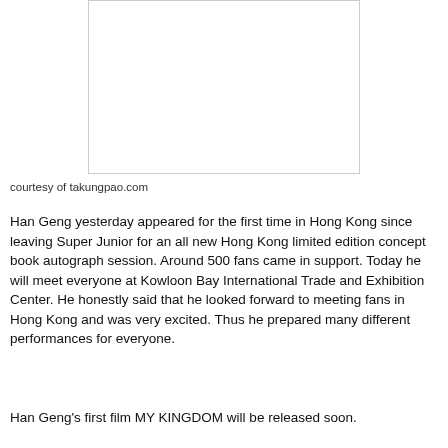[Figure (photo): White/blank image placeholder with light gray border]
courtesy of takungpao.com
Han Geng yesterday appeared for the first time in Hong Kong since leaving Super Junior for an all new Hong Kong limited edition concept book autograph session. Around 500 fans came in support. Today he will meet everyone at Kowloon Bay International Trade and Exhibition Center. He honestly said that he looked forward to meeting fans in Hong Kong and was very excited. Thus he prepared many different performances for everyone.
Han Geng's first film MY KINGDOM will be released soon.